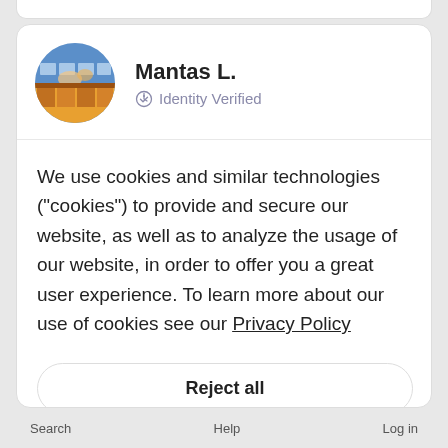[Figure (photo): Circular avatar photo of Mantas L. showing a colorful indoor market or store scene]
Mantas L.
Identity Verified
We use cookies and similar technologies ("cookies") to provide and secure our website, as well as to analyze the usage of our website, in order to offer you a great user experience. To learn more about our use of cookies see our Privacy Policy
Reject all
Accept all
Search    Help    Log in